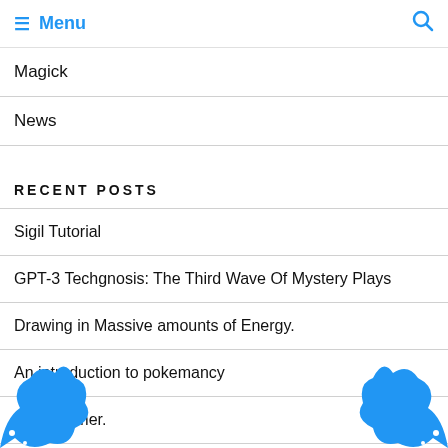≡ Menu 🔍
Magick
News
RECENT POSTS
Sigil Tutorial
GPT-3 Techgnosis: The Third Wave Of Mystery Plays
Drawing in Massive amounts of Energy.
An introduction to pokemancy
OK Broomer.
☿ Planetary Kamea – 23×23 Magic Square